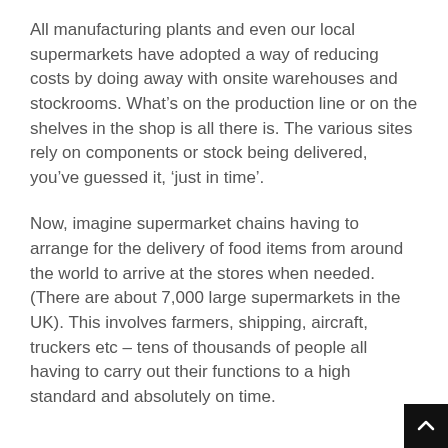All manufacturing plants and even our local supermarkets have adopted a way of reducing costs by doing away with onsite warehouses and stockrooms. What’s on the production line or on the shelves in the shop is all there is. The various sites rely on components or stock being delivered, you’ve guessed it, ‘just in time’.
Now, imagine supermarket chains having to arrange for the delivery of food items from around the world to arrive at the stores when needed. (There are about 7,000 large supermarkets in the UK). This involves farmers, shipping, aircraft, truckers etc – tens of thousands of people all having to carry out their functions to a high standard and absolutely on time.